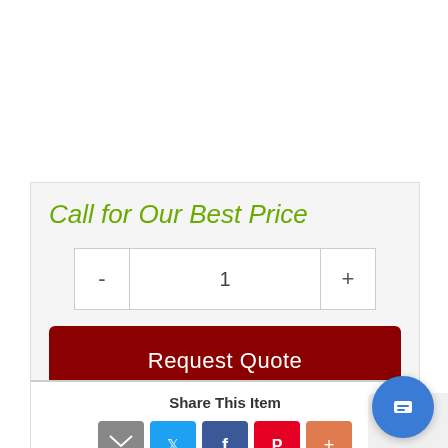Call for Our Best Price
1
Request Quote
Share This Item